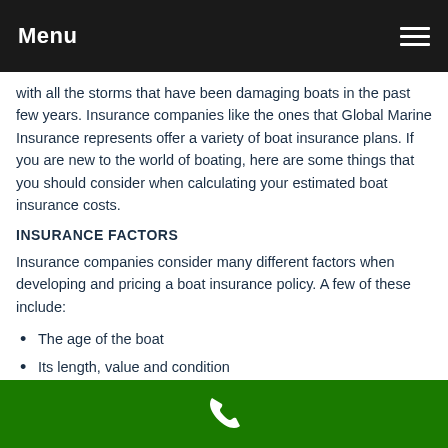Menu
with all the storms that have been damaging boats in the past few years. Insurance companies like the ones that Global Marine Insurance represents offer a variety of boat insurance plans. If you are new to the world of boating, here are some things that you should consider when calculating your estimated boat insurance costs.
INSURANCE FACTORS
Insurance companies consider many different factors when developing and pricing a boat insurance policy. A few of these include:
The age of the boat
Its length, value and condition